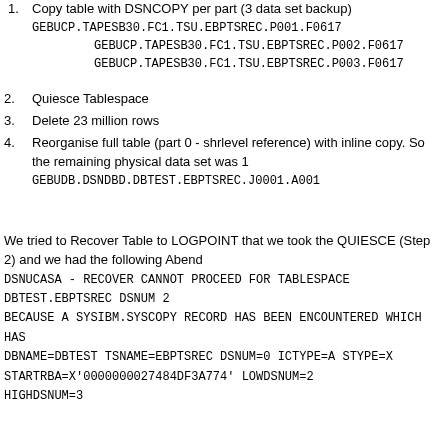1. Copy table with DSNCOPY per part (3 data set backup)
GEBUCP.TAPESB30.FC1.TSU.EBPTSREC.P001.F0617
GEBUCP.TAPESB30.FC1.TSU.EBPTSREC.P002.F0617
GEBUCP.TAPESB30.FC1.TSU.EBPTSREC.P003.F0617
2. Quiesce Tablespace
3. Delete 23 million rows
4. Reorganise full table (part 0 - shrlevel reference) with inline copy. So the remaining physical data set was 1
GEBUDB.DSNDBD.DBTEST.EBPTSREC.J0001.A001
We tried to Recover Table to LOGPOINT that we took the QUIESCE (Step 2) and we had the following Abend
DSNUCASA - RECOVER CANNOT PROCEED FOR TABLESPACE DBTEST.EBPTSREC DSNUM 2
BECAUSE A SYSIBM.SYSCOPY RECORD HAS BEEN ENCOUNTERED WHICH HAS
DBNAME=DBTEST TSNAME=EBPTSREC DSNUM=0 ICTYPE=A STYPE=X
STARTRBA=X'0000000027484DF3A774' LOWDSNUM=2
HIGHDSNUM=3